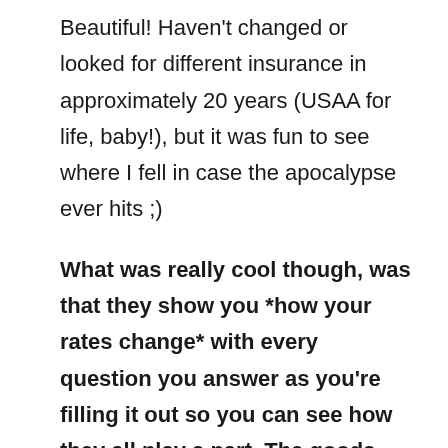Beautiful! Haven't changed or looked for different insurance in approximately 20 years (USAA for life, baby!), but it was fun to see where I fell in case the apocalypse ever hits ;)
What was really cool though, was that they show you *how your rates change* with every question you answer as you're filling it out so you can see how they all play a part. The goods, the bads, and the so-so's.
I missed it the first time I took the questionnaire (it's in the upper right hand corner of the site), but I started over and retook